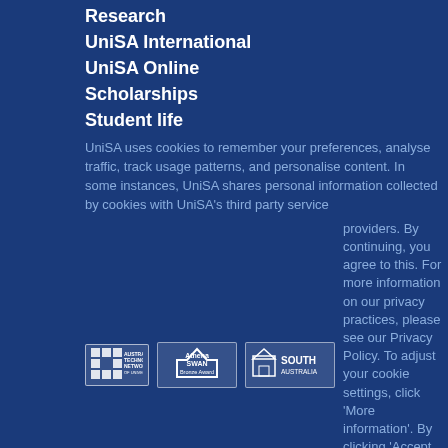Research
UniSA International
UniSA Online
Scholarships
Student life
UniSA uses cookies to remember your preferences, analyse traffic, track usage patterns, and personalise content. In some instances, UniSA shares personal information collected by cookies with UniSA's third party service providers. By continuing, you agree to this. For more information on our privacy practices, please see our Privacy Policy. To adjust your cookie settings, click 'More information'. By clicking 'Accept and continue', you consent to our use of
[Figure (logo): Australian Technology Network of Universities logo]
[Figure (logo): Athena SWAN Bronze Award logo]
[Figure (logo): South Australia logo]
[Figure (photo): Indigenous artwork - circular spiral painting in earth tones]
UniSA respects the Kaurna, Boandik and Barngarla peoples spiritual relationship with their country.
ARTWORK: NGUPULYA PUMANI
More information
Copyright   Privacy notification   Web accessibility   Disclaimers
CRICOS Provider no OO121B